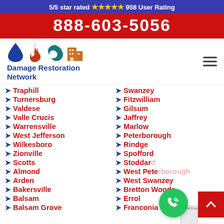5/5 star rated ⭐⭐⭐⭐⭐ 958 User Rating
888-603-5056
[Figure (logo): Damage Restoration Network logo with water drop, fire, hurricane, and building icons]
Traphill
Turnersburg
Valdese
Valle Crucis
Warrensville
West Jefferson
Wilkesboro
Zionville
Scotts
Almond
Arden
Bakersville
Balsam
Balsam Grove
Swanzey
Fitzwilliam
Gilsum
Jaffrey
Marlow
Peterborough
Rindge
Spofford
Stoddard
West Peterborough
West Swanzey
Bretton Woods
Errol
Franconia